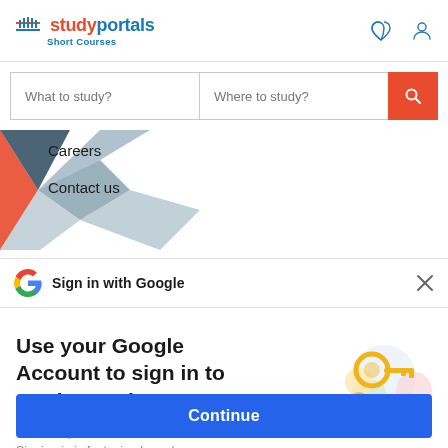[Figure (logo): StudyPortals Short Courses logo with red building icon and blue portals text]
[Figure (screenshot): Search bar with 'What to study?' and 'Where to study?' fields and orange search button]
Careers
Contact us
Sign in with Google
Use your Google Account to sign in to StudyPortals
No more passwords to remember. Signing in is fast, simple and secure.
Continue